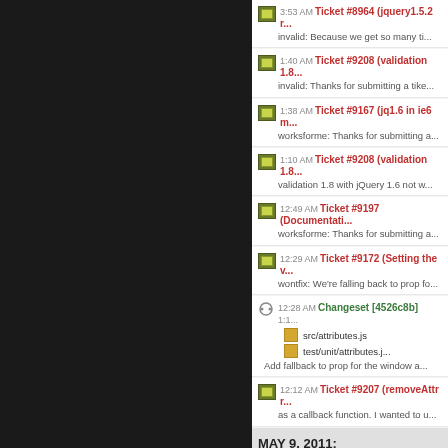[Figure (screenshot): Dark left panel background]
3:53 AM Ticket #8964 (jquery1.5.2 r... — invalid: Because we get so many ti...
1:40 AM Ticket #9208 (validation 1.8... — invalid: Thanks for submitting a tike...
1:38 AM Ticket #9167 (jq1.6 in ie6 m... — worksforme: Thanks for submitting a...
1:10 AM Ticket #9208 (validation 1.8... — validation 1.8 with jQuery 1.6 not w...
12:49 AM Ticket #9197 (Documentati... — worksforme: Thanks for submitting a...
12:29 AM Ticket #9172 (Setting the v... — wontfix: We're falling back to prop fo...
12:28 AM Changeset [4526c8b] 1:1... — src/attributes.js, test/unit/attributes.j... — Add fallback to prop for the window a...
12:12 AM Ticket #9207 (removeAttr r... — as a callback function. I wanted to u...
MAY 9, 2011:
9:51 PM Ticket #9205 (Duplicate AJ... — Anyone else noticing duplicate requ...
6:09 PM Ticket #9154 (:reset psued... — fixed: Fixed. ...